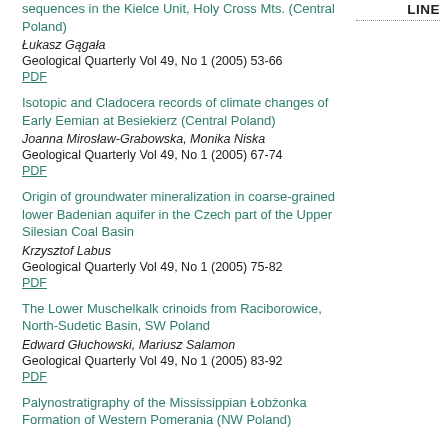LINE
sequences in the Kielce Unit, Holy Cross Mts. (Central Poland)
Łukasz Gągała
Geological Quarterly Vol 49, No 1 (2005) 53-66
PDF
Isotopic and Cladocera records of climate changes of Early Eemian at Besiekierz (Central Poland)
Joanna Mirosław-Grabowska, Monika Niska
Geological Quarterly Vol 49, No 1 (2005) 67-74
PDF
Origin of groundwater mineralization in coarse-grained lower Badenian aquifer in the Czech part of the Upper Silesian Coal Basin
Krzysztof Labus
Geological Quarterly Vol 49, No 1 (2005) 75-82
PDF
The Lower Muschelkalk crinoids from Raciborowice, North-Sudetic Basin, SW Poland
Edward Głuchowski, Mariusz Salamon
Geological Quarterly Vol 49, No 1 (2005) 83-92
PDF
Palynostratigraphy of the Mississippian Łobżonka Formation of Western Pomerania (NW Poland)